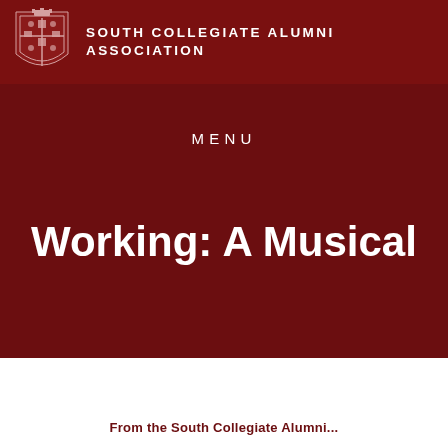SOUTH COLLEGIATE ALUMNI ASSOCIATION
MENU
Working: A Musical
From the South Collegiate Alumni...